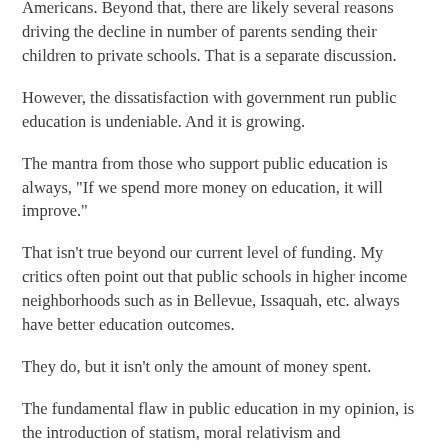Americans. Beyond that, there are likely several reasons driving the decline in number of parents sending their children to private schools. That is a separate discussion.
However, the dissatisfaction with government run public education is undeniable. And it is growing.
The mantra from those who support public education is always, "If we spend more money on education, it will improve."
That isn't true beyond our current level of funding. My critics often point out that public schools in higher income neighborhoods such as in Bellevue, Issaquah, etc. always have better education outcomes.
They do, but it isn't only the amount of money spent.
The fundamental flaw in public education in my opinion, is the introduction of statism, moral relativism and progressivism.
And public education will not improve under the present...